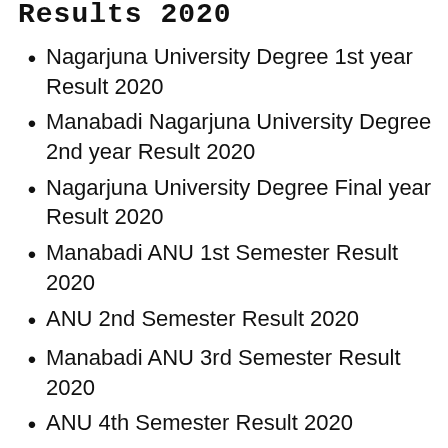Results 2020
Nagarjuna University Degree 1st year Result 2020
Manabadi Nagarjuna University Degree 2nd year Result 2020
Nagarjuna University Degree Final year Result 2020
Manabadi ANU 1st Semester Result 2020
ANU 2nd Semester Result 2020
Manabadi ANU 3rd Semester Result 2020
ANU 4th Semester Result 2020
Manabbadi ANU 5th Semester Result 2020
Nagarjuna  University 6th Semester Result 2020